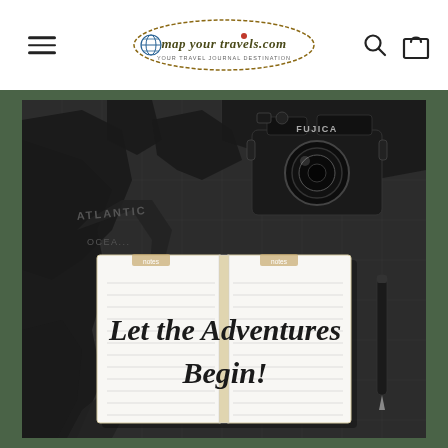mapyourtravels.com — navigation header with hamburger menu, logo, search and cart icons
[Figure (photo): Photo of an open notebook on a dark world map with a Fujica camera and pen. The notebook shows handwritten text: 'Let the Adventures Begin!']